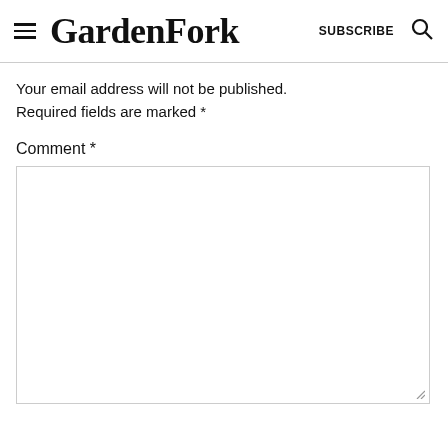GardenFork  SUBSCRIBE
Your email address will not be published. Required fields are marked *
Comment *
[Figure (other): Empty comment textarea input box with resize handle]